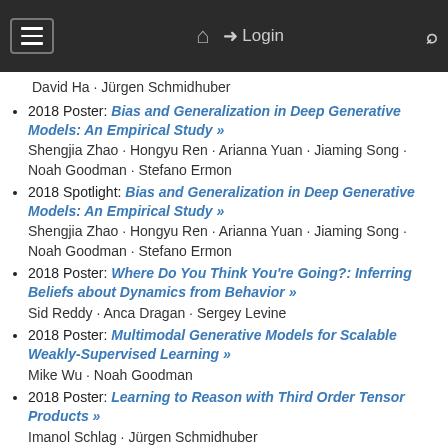☰  🏠  ➔ Login  🔍
David Ha · Jürgen Schmidhuber
2018 Poster: Bias and Generalization in Deep Generative Models: An Empirical Study »
Shengjia Zhao · Hongyu Ren · Arianna Yuan · Jiaming Song · Noah Goodman · Stefano Ermon
2018 Spotlight: Bias and Generalization in Deep Generative Models: An Empirical Study »
Shengjia Zhao · Hongyu Ren · Arianna Yuan · Jiaming Song · Noah Goodman · Stefano Ermon
2018 Poster: Where Do You Think You're Going?: Inferring Beliefs about Dynamics from Behavior »
Sid Reddy · Anca Dragan · Sergey Levine
2018 Poster: Multimodal Generative Models for Scalable Weakly-Supervised Learning »
Mike Wu · Noah Goodman
2018 Poster: Learning to Reason with Third Order Tensor Products »
Imanol Schlag · Jürgen Schmidhuber
2017 : HRL with gradient-based subgoal generators, asymptotically optimal incremental problem solvers,